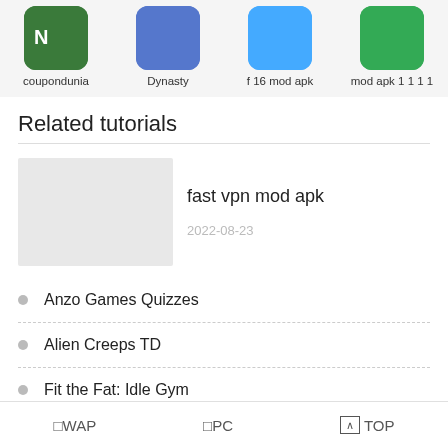[Figure (screenshot): Top bar showing four app icons with labels: coupondunia, Dynasty, f 16 mod apk, mod apk 1 1 1 1]
Related tutorials
[Figure (screenshot): Tutorial card thumbnail (gray placeholder) for fast vpn mod apk dated 2022-08-23]
fast vpn mod apk
2022-08-23
Anzo Games Quizzes
Alien Creeps TD
Fit the Fat: Idle Gym
□WAP □PC ⊡ TOP